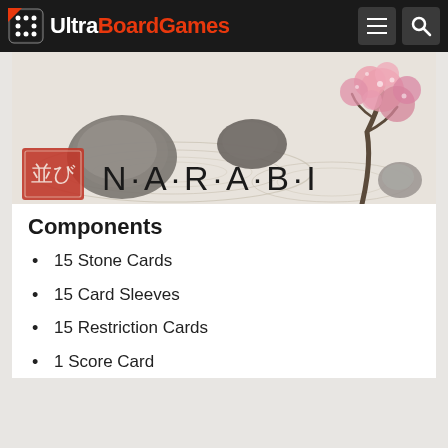UltraBoardGames
[Figure (screenshot): Narabi board game product image showing Japanese zen garden illustration with stones, water ripples, cherry blossom tree, and the Narabi logo with a red stamp icon.]
Components
15 Stone Cards
15 Card Sleeves
15 Restriction Cards
1 Score Card